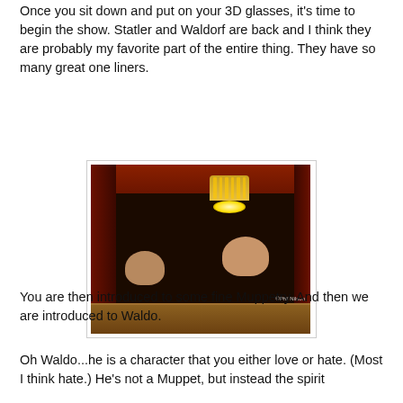Once you sit down and put on your 3D glasses, it's time to begin the show. Statler and Waldorf are back and I think they are probably my favorite part of the entire thing. They have so many great one liners.
[Figure (photo): Dark theatrical photo showing two Muppet characters (Statler and Waldorf) in a theater box, with a glowing chandelier/lamp above them and dark red curtains in the background.]
You are then introduced to some fine Muppetry. And then we are introduced to Waldo.
Oh Waldo...he is a character that you either love or hate. (Most I think hate.) He's not a Muppet, but instead the spirit